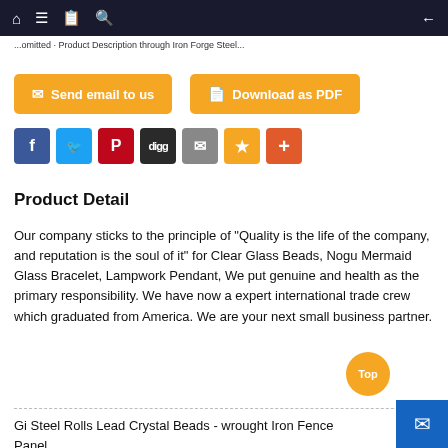... Product Description through Iron Forge SteelM...
[Figure (screenshot): Two orange buttons: 'Send email to us' and 'Download as PDF']
[Figure (screenshot): Social share buttons row: Facebook, Twitter, Pinterest, Digg, Email, Favorites (star), More (+)]
Product Detail
Our company sticks to the principle of "Quality is the life of the company, and reputation is the soul of it" for Clear Glass Beads, Nogu Mermaid Glass Bracelet, Lampwork Pendant, We put genuine and health as the primary responsibility. We have now a expert international trade crew which graduated from America. We are your next small business partner.
Gi Steel Rolls Lead Crystal Beads - wrought Iron Fence Panel